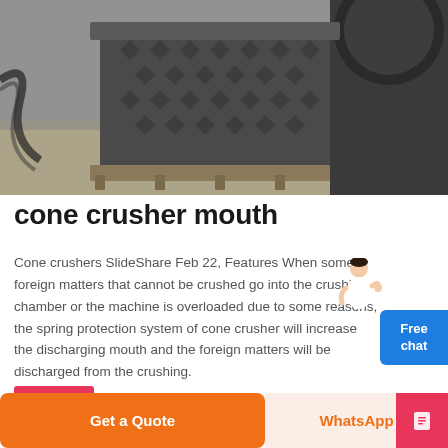[Figure (photo): Industrial cone crusher machine photographed in a warehouse/factory setting, showing the crusher body with bolted plates on a wooden pallet, with another large machine visible to the right.]
cone crusher mouth
Cone crushers SlideShare Feb 22, Features When some foreign matters that cannot be crushed go into the crushing chamber or the machine is overloaded due to some reasons, the spring protection system of cone crusher will increase the discharging mouth and the foreign matters will be discharged from the crushing.
Get a Quote
WhatsApp